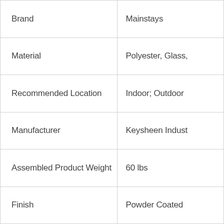| Attribute | Value |
| --- | --- |
| Brand | Mainstays |
| Material | Polyester, Glass, |
| Recommended Location | Indoor; Outdoor |
| Manufacturer | Keysheen Indust |
| Assembled Product Weight | 60 lbs |
| Finish | Powder Coated |